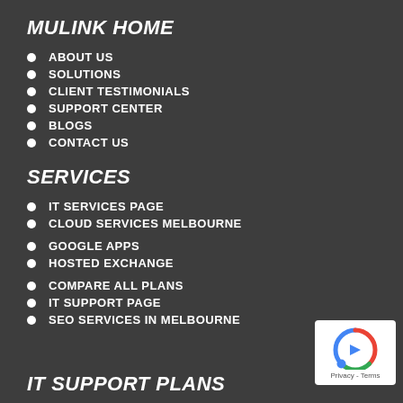MULINK HOME
ABOUT US
SOLUTIONS
CLIENT TESTIMONIALS
SUPPORT CENTER
BLOGS
CONTACT US
SERVICES
IT SERVICES PAGE
CLOUD SERVICES MELBOURNE
GOOGLE APPS
HOSTED EXCHANGE
COMPARE ALL PLANS
IT SUPPORT PAGE
SEO SERVICES IN MELBOURNE
IT SUPPORT PLANS